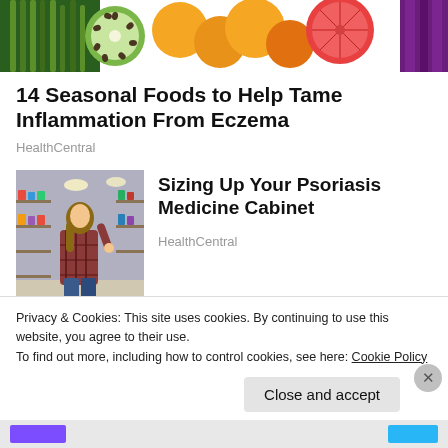[Figure (photo): Colorful array of fruits and vegetables including celery, kiwi, oranges, grapefruit, and eggplant]
14 Seasonal Foods to Help Tame Inflammation From Eczema
HealthCentral
[Figure (photo): Woman shopping in a grocery store aisle, examining products on shelves]
Sizing Up Your Psoriasis Medicine Cabinet
HealthCentral
[Figure (photo): Person wearing a dark wide-brim hat]
Almost Nobody Has Passed This Geography Quiz
Privacy & Cookies: This site uses cookies. By continuing to use this website, you agree to their use.
To find out more, including how to control cookies, see here: Cookie Policy